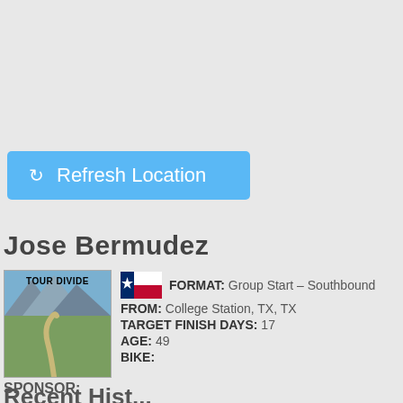[Figure (other): Blue 'Refresh Location' button with refresh icon]
Jose Bermudez
[Figure (infographic): Tour Divide profile card with mountain road photo, Texas flag, and rider details: FORMAT: Group Start – Southbound, FROM: College Station, TX, TX, TARGET FINISH DAYS: 17, AGE: 49, BIKE:]
SPONSOR:
LINK:
Recent Hist...